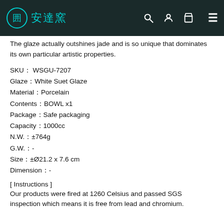安達窯 (logo and navigation)
The glaze actually outshines jade and is so unique that dominates its own particular artistic properties.
SKU： WSGU-7207
Glaze：White Suet Glaze
Material：Porcelain
Contents：BOWL x1
Package：Safe packaging
Capacity：1000cc
N.W.：±764g
G.W.：-
Size：±Ø21.2 x 7.6 cm
Dimension：-
[ Instructions ]
Our products were fired at 1260 Celsius and passed SGS inspection which means it is free from lead and chromium.